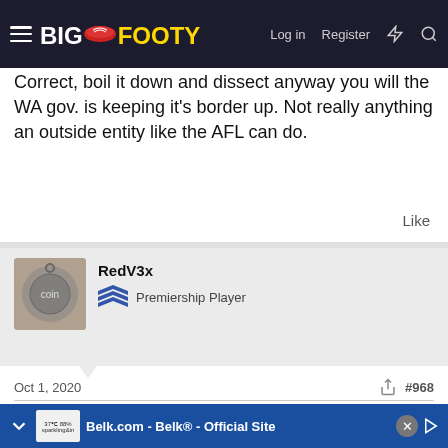BigFooty — Log in  Register
Correct, boil it down and dissect anyway you will the WA gov. is keeping it's border up. Not really anything an outside entity like the AFL can do.
Like
[Figure (photo): User avatar photo of RedV3x showing a round medallion/coin]
RedV3x
Premiership Player
Oct 1, 2020  #968
Carringbush2010 said:
Not really anything an outside entity like the AFL can
Belk.com - Belk® - Official Site